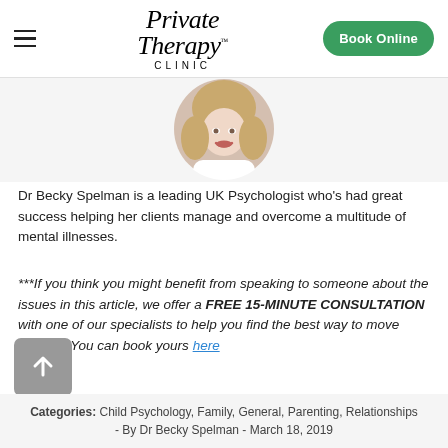Private Therapy Clinic | Book Online
[Figure (photo): Circular profile photo of Dr Becky Spelman, a smiling blonde woman]
Dr Becky Spelman is a leading UK Psychologist who's had great success helping her clients manage and overcome a multitude of mental illnesses.
***If you think you might benefit from speaking to someone about the issues in this article, we offer a FREE 15-MINUTE CONSULTATION with one of our specialists to help you find the best way to move forward. You can book yours here
Categories: Child Psychology, Family, General, Parenting, Relationships - By Dr Becky Spelman - March 18, 2019